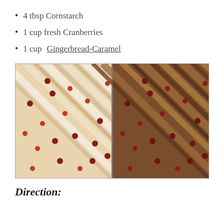4 tbsp Cornstarch
1 cup fresh Cranberries
1 cup Gingerbread-Caramel
[Figure (photo): Side-by-side photos showing braided pie crust with fresh cranberries before and after baking with caramel glaze]
Direction: